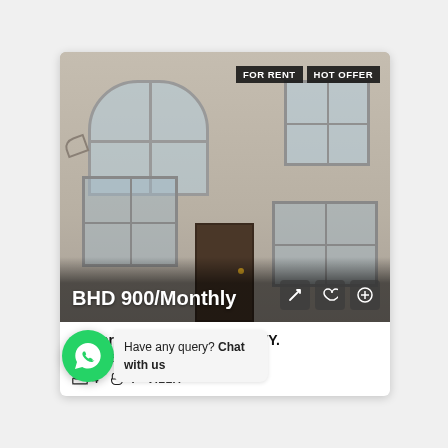[Figure (photo): Two-storey villa exterior with arched window on top-left, two square windows, front door, and lower windows. Beige/sand-colored facade. FOR RENT and HOT OFFER badges top-right. Price BHD 900/Monthly overlaid bottom-left.]
Modern 4 Bedroom 5/5 Private Villa For U S NAVY.
, 1234, Bahrain
Have any query? Chat with us
4  4  VILLA